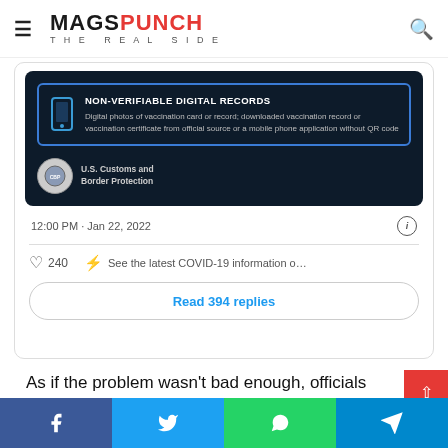MAGSPUNCH THE REAL SIDE
[Figure (screenshot): Screenshot of a tweet from US Customs and Border Protection showing a dark card with 'NON-VERIFIABLE DIGITAL RECORDS' section, timestamp 12:00 PM Jan 22, 2022, 240 likes, COVID-19 information link, and Read 394 replies button.]
As if the problem wasn't bad enough, officials are already warning folks that this arbitrary measure is going to clog up the borders, increasing shipping delays and ensuring more shortages.